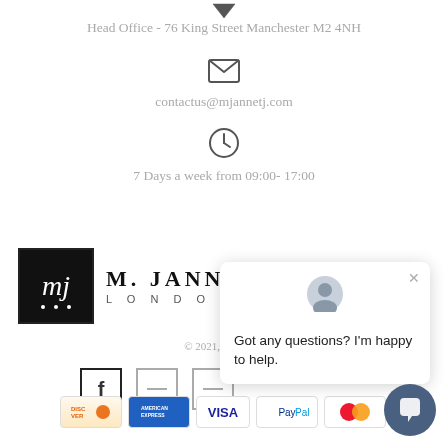[Figure (illustration): Location pin icon (downward pointing chevron/arrow) at top center]
Head Office - 76 King Street Manchester M2 4NH
[Figure (illustration): Email/envelope icon]
contactus@mjannetj.com
[Figure (illustration): Clock icon]
7 Days a week from 09:00- 17:00
[Figure (logo): M. Jannet. J. London logo with stylized MJ monogram in black box]
© 2021, M.Jann...
[Figure (illustration): Social media icons: Facebook, and two others (partially visible)]
[Figure (illustration): Payment method icons: Discover, American Express, Visa, PayPal, Mastercard]
[Figure (illustration): Chat popup overlay with avatar, close button, and text: Got any questions? I'm happy to help.]
[Figure (illustration): Dark blue chat button circle in bottom right corner]